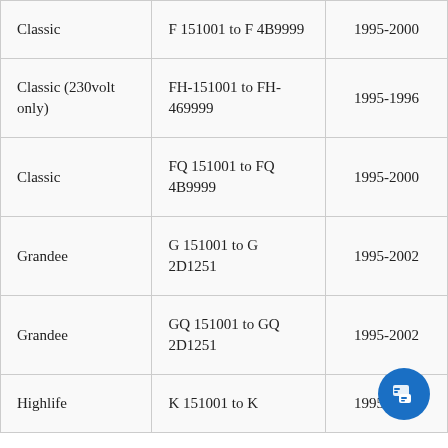| Classic | F 151001 to F 4B9999 | 1995-2000 |
| Classic (230volt only) | FH-151001 to FH-469999 | 1995-1996 |
| Classic | FQ 151001 to FQ 4B9999 | 1995-2000 |
| Grandee | G 151001 to G 2D1251 | 1995-2002 |
| Grandee | GQ 151001 to GQ 2D1251 | 1995-2002 |
| Highlife | K 151001 to K ... | 1995-1996 |